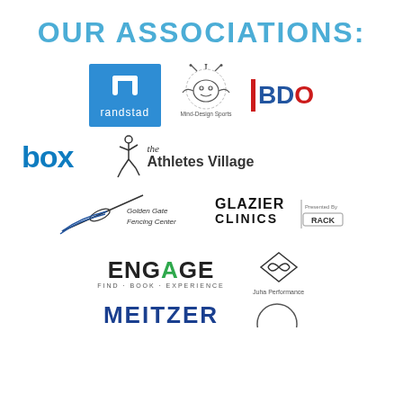OUR ASSOCIATIONS:
[Figure (logo): Randstad logo - white icon on blue background with 'randstad' text]
[Figure (logo): Mind-Design Sports logo - circular icon with text]
[Figure (logo): BDO logo - blue text with red vertical bar and red O]
[Figure (logo): box logo - blue lowercase text]
[Figure (logo): the Athletes Village logo - figure icon with text]
[Figure (logo): Golden Gate Fencing Center logo - fencing illustration with cursive text]
[Figure (logo): Glazier Clinics presented by RACK logo]
[Figure (logo): ENGAGE find book experience logo]
[Figure (logo): Juha Performance logo - infinity diamond icon]
[Figure (logo): MEITZER logo - partial view at bottom]
[Figure (logo): Circular logo - partial view at bottom right]